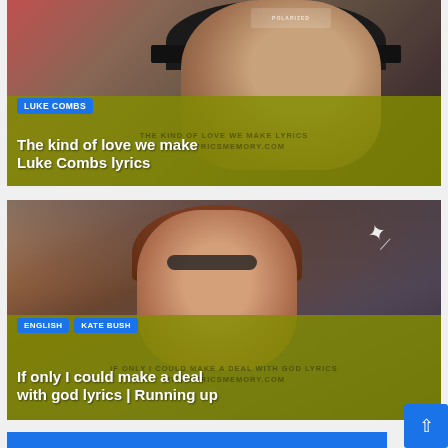[Figure (photo): Thumbnail card showing a man in a black cap with 'POLARIZED' text, with an olive/yellow-green overlay bar at the bottom. Blue 'LUKE COMBS' badge and white title text 'The kind of love we make Luke Combs lyrics'. Watermark text: THE KIND OF LOVE WE MAKE LYRICS / WWW.LYRICSMEMORY.COM]
[Figure (photo): Thumbnail card showing a young woman with headphones and braids, with a sparkle/starburst graphic, crowd in background, and olive/yellow-green overlay bar at bottom. Blue 'ENGLISH' and 'KATE BUSH' badges and white title text 'If only I could make a deal with god lyrics | Running up'. Watermark text: IF ONLY I COULD MAKE A DEAL WITH GOD LYRICS / WWW.LYRICSMEMORY.COM]